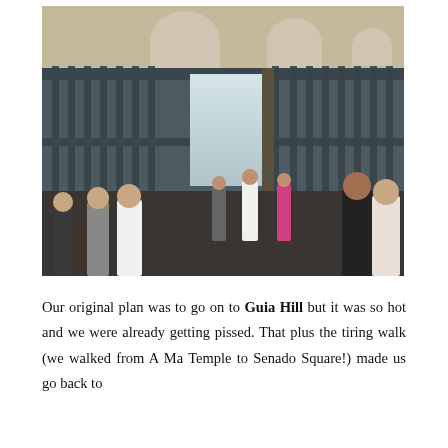[Figure (photo): Photograph of tourists standing in front of an ancient stone facade with metal vertical bars/grates. The structure appears to be ruins of a historic building (likely the Ruins of St. Paul's in Macau) with arched windows visible at the top. Several people can be seen in the foreground and through a central doorway opening.]
Our original plan was to go on to Guia Hill but it was so hot and we were already getting pissed. That plus the tiring walk (we walked from A Ma Temple to Senado Square!) made us go back to